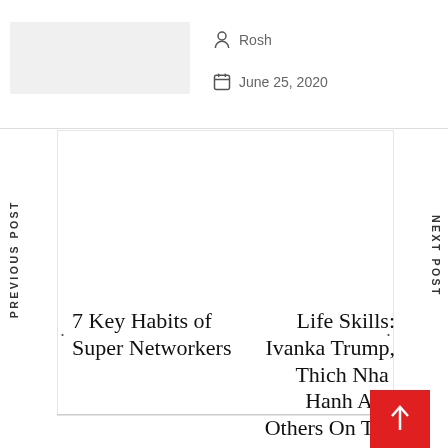[Figure (photo): Thumbnail image placeholder (gray rectangle)]
Rosh
June 25, 2020
PREVIOUS POST
NEXT POST
7 Key Habits of Super Networkers
Life Skills: Ivanka Trump, Thich Nhat Hanh And Others On The